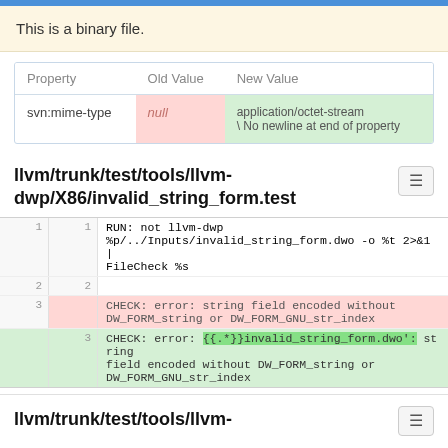This is a binary file.
| Property | Old Value | New Value |
| --- | --- | --- |
| svn:mime-type | null | application/octet-stream \ No newline at end of property |
llvm/trunk/test/tools/llvm-dwp/X86/invalid_string_form.test
| old line | new line | code |
| --- | --- | --- |
| 1 | 1 | RUN: not llvm-dwp %p/../Inputs/invalid_string_form.dwo -o %t 2>&1 | FileCheck %s |
| 2 | 2 |  |
| 3 |  | CHECK: error: string field encoded without DW_FORM_string or DW_FORM_GNU_str_index |
|  | 3 | CHECK: error: {{.*}}invalid_string_form.dwo': string field encoded without DW_FORM_string or DW_FORM_GNU_str_index |
llvm/trunk/test/tools/llvm-